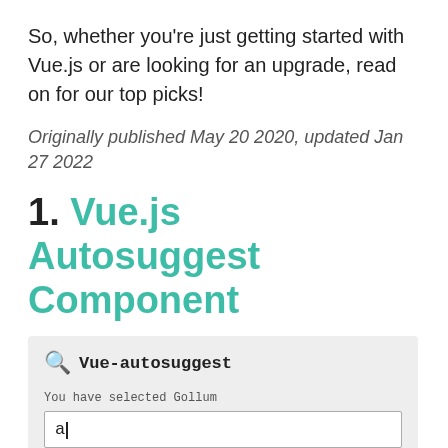So, whether you're just getting started with Vue.js or are looking for an upgrade, read on for our top picks!
Originally published May 20 2020, updated Jan 27 2022
1. Vue.js Autosuggest Component
[Figure (screenshot): Screenshot of Vue-autosuggest component showing a search icon, bold title 'Vue-autosuggest', a text field with 'a' typed and cursor, a message 'You have selected Gollum', and a dropdown showing 'Educents - Samwise']